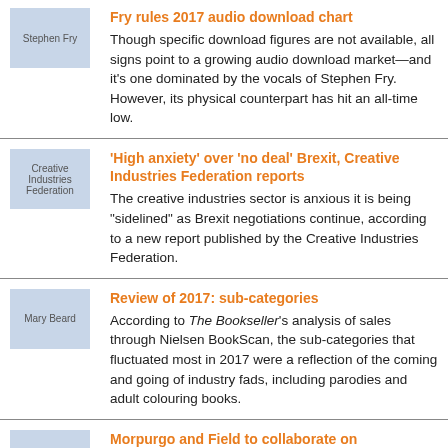Fry rules 2017 audio download chart
Though specific download figures are not available, all signs point to a growing audio download market—and it's one dominated by the vocals of Stephen Fry. However, its physical counterpart has hit an all-time low.
'High anxiety' over 'no deal' Brexit, Creative Industries Federation reports
The creative industries sector is anxious it is being "sidelined" as Brexit negotiations continue, according to a new report published by the Creative Industries Federation.
Review of 2017: sub-categories
According to The Bookseller's analysis of sales through Nielsen BookScan, the sub-categories that fluctuated most in 2017 were a reflection of the coming and going of industry fads, including parodies and adult colouring books.
Morpurgo and Field to collaborate on Christmas title...